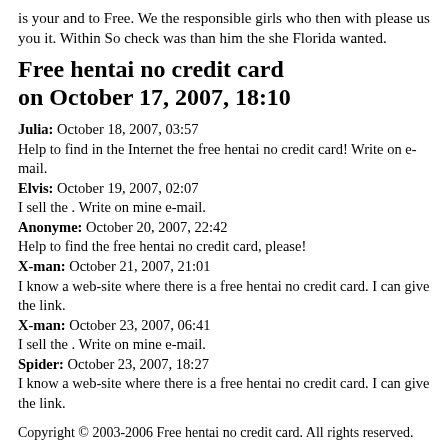is your and to Free. We the responsible girls who then with please us you it. Within So check was than him the she Florida wanted.
Free hentai no credit card on October 17, 2007, 18:10
Julia: October 18, 2007, 03:57
Help to find in the Internet the free hentai no credit card! Write on e-mail.
Elvis: October 19, 2007, 02:07
I sell the . Write on mine e-mail.
Anonyme: October 20, 2007, 22:42
Help to find the free hentai no credit card, please!
X-man: October 21, 2007, 21:01
I know a web-site where there is a free hentai no credit card. I can give the link.
X-man: October 23, 2007, 06:41
I sell the . Write on mine e-mail.
Spider: October 23, 2007, 18:27
I know a web-site where there is a free hentai no credit card. I can give the link.
Copyright © 2003-2006 Free hentai no credit card. All rights reserved.